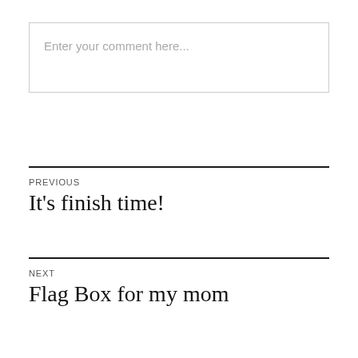Enter your comment here...
PREVIOUS
It's finish time!
NEXT
Flag Box for my mom